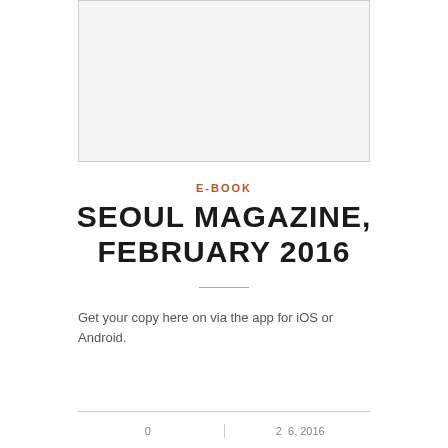[Figure (photo): Placeholder image box with light gray background and thin border]
E-BOOK
SEOUL MAGAZINE, FEBRUARY 2016
Get your copy here on via the app for iOS or Android.
0 | 2  6, 2016